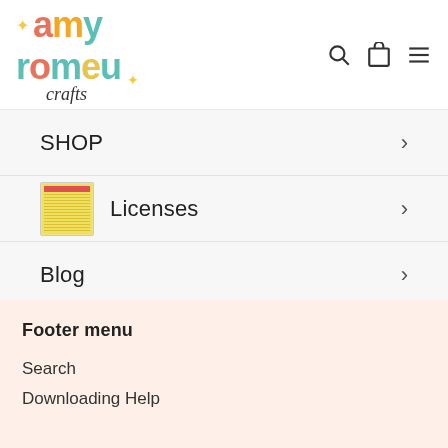[Figure (logo): Amy Romeu Crafts logo with colorful retro lettering and sparkle accents]
SHOP
Licenses
Blog
Contact Us
Footer menu
Search
Downloading Help